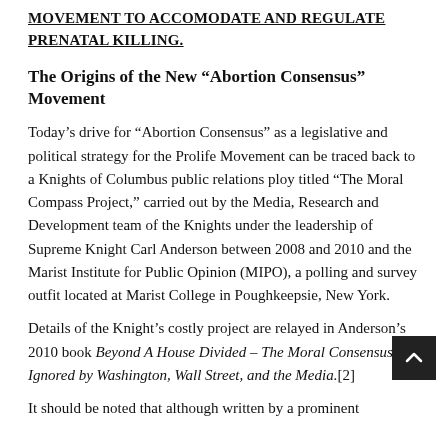MOVEMENT TO ACCOMODATE AND REGULATE PRENATAL KILLING.
The Origins of the New “Abortion Consensus” Movement
Today’s drive for “Abortion Consensus” as a legislative and political strategy for the Prolife Movement can be traced back to a Knights of Columbus public relations ploy titled “The Moral Compass Project,” carried out by the Media, Research and Development team of the Knights under the leadership of Supreme Knight Carl Anderson between 2008 and 2010 and the Marist Institute for Public Opinion (MIPO), a polling and survey outfit located at Marist College in Poughkeepsie, New York.
Details of the Knight’s costly project are relayed in Anderson’s 2010 book Beyond A House Divided – The Moral Consensus Ignored by Washington, Wall Street, and the Media.[2]
It should be noted that although written by a prominent